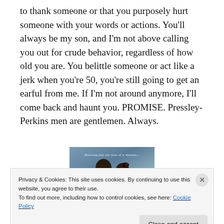to thank someone or that you purposely hurt someone with your words or actions. You'll always be my son, and I'm not above calling you out for crude behavior, regardless of how old you are. You belittle someone or act like a jerk when you're 50, you're still going to get an earful from me. If I'm not around anymore, I'll come back and haunt you. PROMISE. Pressley-Perkins men are gentlemen. Always.
[Figure (photo): Photo of two young children (a boy and a girl) against a blue-grey background with italic script text overlay reading 'Blessing like the love of a Woman...']
Privacy & Cookies: This site uses cookies. By continuing to use this website, you agree to their use.
To find out more, including how to control cookies, see here: Cookie Policy